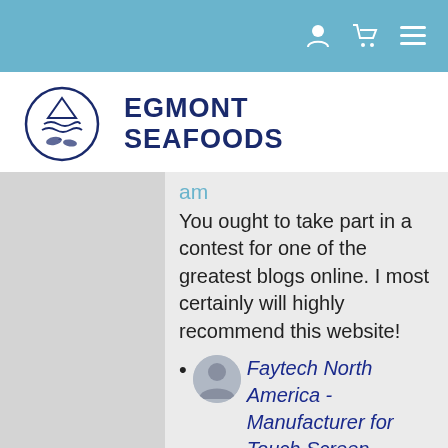Navigation bar with user, cart, and menu icons
[Figure (logo): Egmont Seafoods logo with circular fish emblem and bold text]
am
You ought to take part in a contest for one of the greatest blogs online. I most certainly will highly recommend this website!
Faytech North America - Manufacturer for Touch Screen, Industrial Touch Screen, Portable Touch